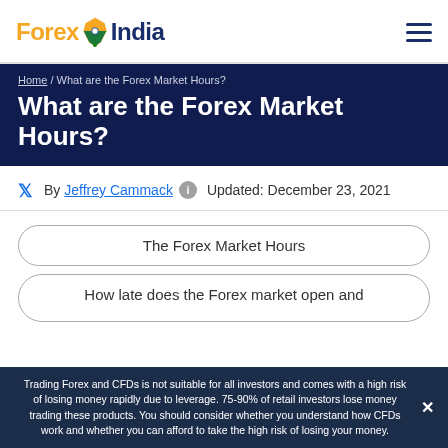Forex India [logo]
What are the Forex Market Hours?
Home / What are the Forex Market Hours?
By Jeffrey Cammack  Updated: December 23, 2021
The Forex Market Hours
How late does the Forex market open and
Trading Forex and CFDs is not suitable for all investors and comes with a high risk of losing money rapidly due to leverage. 75-90% of retail investors lose money trading these products. You should consider whether you understand how CFDs work and whether you can afford to take the high risk of losing your money.